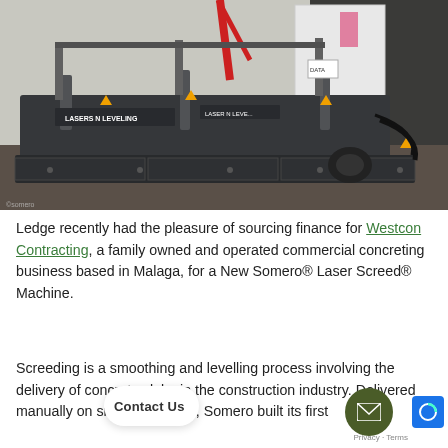[Figure (photo): A large Somero Laser Screed machine with 'Lasers N Leveling' branding parked in an industrial yard. The machine is dark grey/black with a wide screed blade, hydraulic arms, and a white cab unit. A red crane and warehouse building are visible in the background.]
Ledge recently had the pleasure of sourcing finance for Westcon Contracting, a family owned and operated commercial concreting business based in Malaga, for a New Somero® Laser Screed® Machine.
Screeding is a smoothing and levelling process involving the delivery of concrete slabs in the construction industry. Delivered manually on smaller projects, Somero built its first